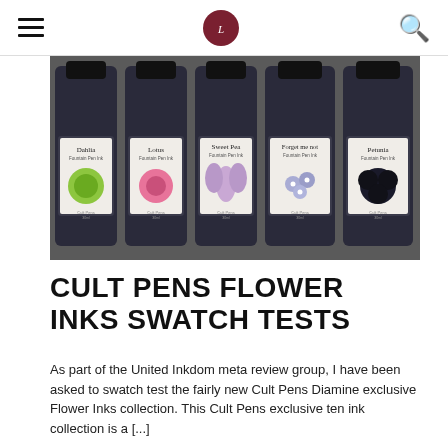Cult Pens Flower Inks Swatch Tests — website header with hamburger menu, logo, and search icon
[Figure (photo): Five dark glass ink bottles with white labels showing flower illustrations: Dahlia Fountain Pen Ink, Lotus Fountain Pen Ink, Sweet Pea Fountain Pen Ink, Forget me not Fountain Pen Ink, Petunia Fountain Pen Ink. Bottles have black caps and are arranged side-by-side on a dark slate surface.]
CULT PENS FLOWER INKS SWATCH TESTS
As part of the United Inkdom meta review group, I have been asked to swatch test the fairly new Cult Pens Diamine exclusive Flower Inks collection. This Cult Pens exclusive ten ink collection is a [...]